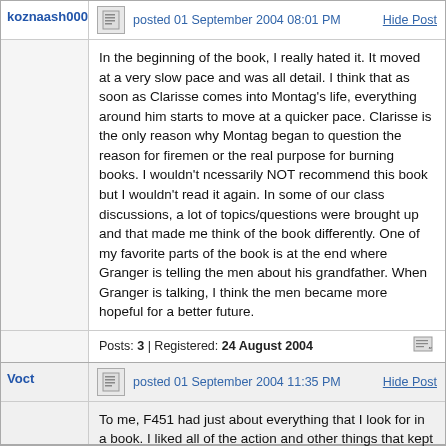koznaash000
posted 01 September 2004 08:01 PM
Hide Post
In the beginning of the book, I really hated it. It moved at a very slow pace and was all detail. I think that as soon as Clarisse comes into Montag's life, everything around him starts to move at a quicker pace. Clarisse is the only reason why Montag began to question the reason for firemen or the real purpose for burning books. I wouldn't ncessarily NOT recommend this book but I wouldn't read it again. In some of our class discussions, a lot of topics/questions were brought up and that made me think of the book differently. One of my favorite parts of the book is at the end where Granger is telling the men about his grandfather. When Granger is talking, I think the men became more hopeful for a better future.
Posts: 3 | Registered: 24 August 2004
Voct
posted 01 September 2004 11:35 PM
Hide Post
To me, F451 had just about everything that I look for in a book. I liked all of the action and other things that kept me interested in the book. I always like things being sci-fi or fantasy because it always gives that "what if" prospective on the world. Also, I really like all